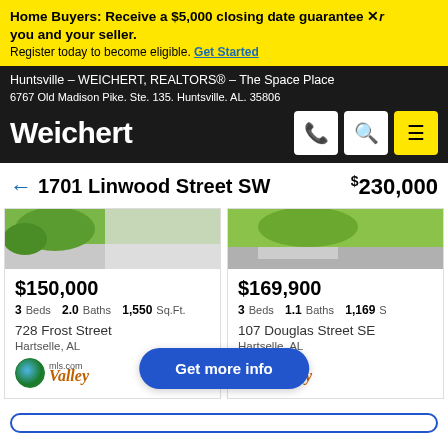Home Buyers: Receive a $5,000 closing date guarantee. Register today to become eligible. Get Started
Huntsville - WEICHERT, REALTORS® - The Space Place
6767 Old Madison Pike. Ste. 135. Huntsville. AL. 35806
Weichert
← 1701 Linwood Street SW  $230,000
[Figure (photo): Property photo for 728 Frost Street - outdoor scene with greenery]
$150,000
3 Beds  2.0 Baths  1,550 Sq.Ft.
728 Frost Street
Hartselle, AL
[Figure (photo): Property photo for 107 Douglas Street SE - outdoor scene with greenery and pavement]
$169,900
3 Beds  1.1 Baths  1,169
107 Douglas Street SE
Hartselle, AL